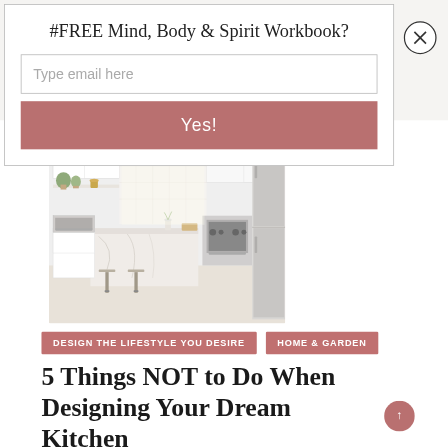#FREE Mind, Body & Spirit Workbook?
Type email here
Yes!
[Figure (photo): Bright modern white kitchen with marble island, bar stools, stainless steel appliances including range and refrigerator, and open shelving with plants]
DESIGN THE LIFESTYLE YOU DESIRE
HOME & GARDEN
5 Things NOT to Do When Designing Your Dream Kitchen